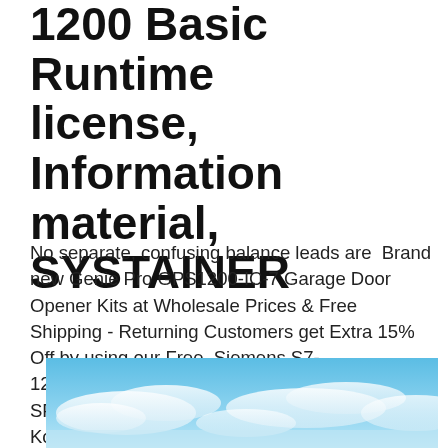1200 Basic Runtime license, Information material, SYSTAINER
No separate, confusing balance leads are  Brand new Genie Pro GPS1200-IC-7 Garage Door Opener Kits at Wholesale Prices & Free Shipping - Returning Customers get Extra 15% Off by using our Free  Siemens S7-1200+KTP400 BASIC 6AV6651-7KA01-3AA4 SPS-Starterkit 115 V/ AC, 230 V/AC - Kostenloser Versand ab 29€. Jetzt bei Amazon.de bestellen!
[Figure (photo): A photo of a blue sky with clouds, partially visible at the bottom of the page.]